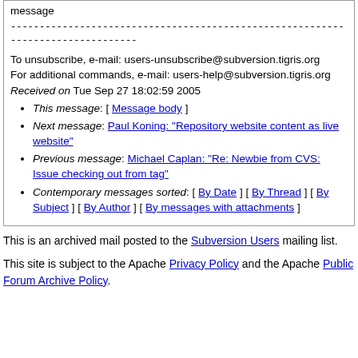message
--------------------------------------------------------------------------------
To unsubscribe, e-mail: users-unsubscribe@subversion.tigris.org
For additional commands, e-mail: users-help@subversion.tigris.org
Received on Tue Sep 27 18:02:59 2005
This message: [ Message body ]
Next message: Paul Koning: "Repository website content as live website"
Previous message: Michael Caplan: "Re: Newbie from CVS: Issue checking out from tag"
Contemporary messages sorted: [ By Date ] [ By Thread ] [ By Subject ] [ By Author ] [ By messages with attachments ]
This is an archived mail posted to the Subversion Users mailing list.
This site is subject to the Apache Privacy Policy and the Apache Public Forum Archive Policy.